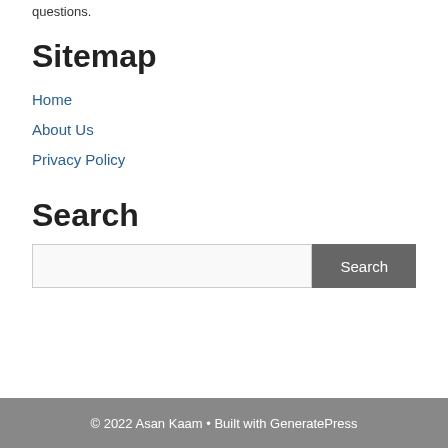questions.
Sitemap
Home
About Us
Privacy Policy
Search
[search input] Search
© 2022 Asan Kaam • Built with GeneratePress